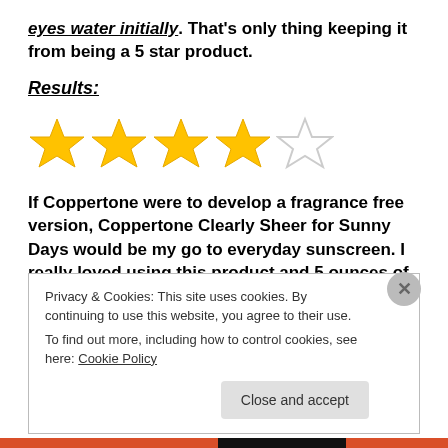eyes water initially. That's only thing keeping it from being a 5 star product.
Results:
[Figure (other): 4 out of 5 stars rating — four filled yellow stars and one empty star outline]
If Coppertone were to develop a fragrance free version, Coppertone Clearly Sheer for Sunny Days would be my go to everyday sunscreen. I really loved using this product and 5 ounces of product for under
Privacy & Cookies: This site uses cookies. By continuing to use this website, you agree to their use.
To find out more, including how to control cookies, see here: Cookie Policy